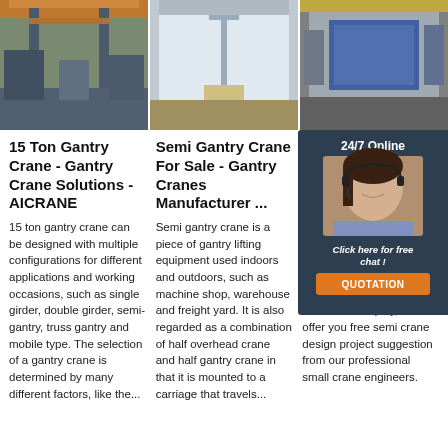[Figure (photo): Industrial warehouse interior with orange overhead gantry crane]
[Figure (photo): Interior of warehouse with semi gantry crane hanging from ceiling, white walls]
[Figure (photo): Warehouse with blue roll-up door and shelving equipment]
15 Ton Gantry Crane - Gantry Crane Solutions - AICRANE
15 ton gantry crane can be designed with multiple configurations for different applications and working occasions, such as single girder, double girder, semi-gantry, truss gantry and mobile type. The selection of a gantry crane is determined by many different factors, like the...
Semi Gantry Crane For Sale - Gantry Cranes Manufacturer ...
Semi gantry crane is a piece of gantry lifting equipment used indoors and outdoors, such as machine shop, warehouse and freight yard. It is also regarded as a combination of half overhead crane and half gantry crane in that it is mounted to a carriage that travels...
Semi Gantry Crane - Professional Gantry Manufacturer
Pre-sale service of semi gantry crane: Unique after-sale services offered with every crane. 1.Rapid response for your free semi crane inquiry, and offer you free semi crane design project suggestion from our professional small crane engineers.
[Figure (infographic): 24/7 Online chat overlay with agent photo, 'Click here for free chat!' text and QUOTATION button]